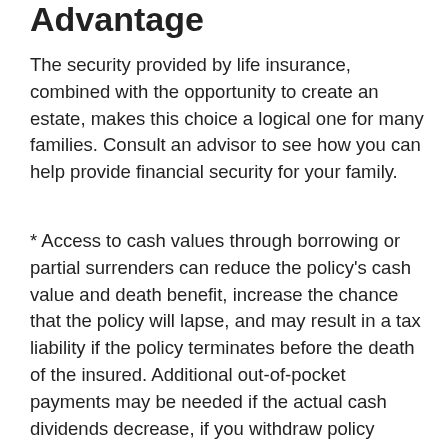Advantage
The security provided by life insurance, combined with the opportunity to create an estate, makes this choice a logical one for many families. Consult an advisor to see how you can help provide financial security for your family.
* Access to cash values through borrowing or partial surrenders can reduce the policy's cash value and death benefit, increase the chance that the policy will lapse, and may result in a tax liability if the policy terminates before the death of the insured. Additional out-of-pocket payments may be needed if the actual cash dividends decrease, if you withdraw policy values, if you take out a loan, or if current charges increase. The cost and availability of life insurance depend on factors such as age, health, and type and amount of insurance purchased. Before implementing a strategy involving life insurance, it would be prudent to make